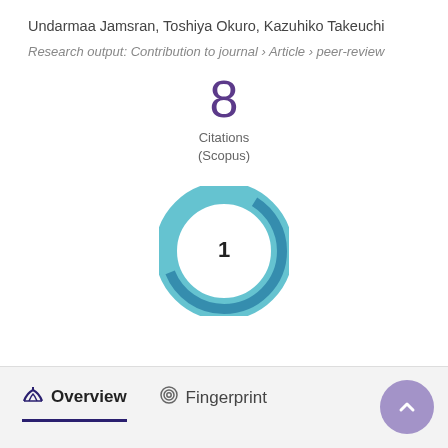Undarmaa Jamsran, Toshiya Okuro, Kazuhiko Takeuchi
Research output: Contribution to journal › Article › peer-review
[Figure (infographic): Large purple number '8' with text 'Citations (Scopus)' below it, and a teal/blue donut-style circular graphic with the number 1 in the center.]
Overview
Fingerprint